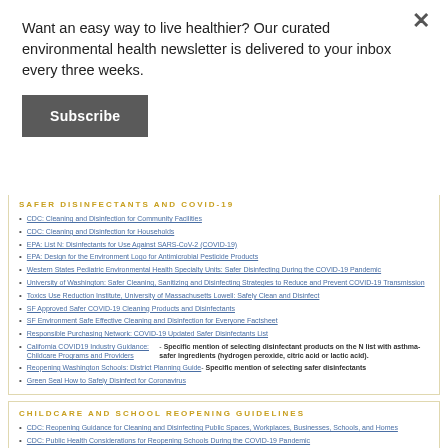Want an easy way to live healthier? Our curated environmental health newsletter is delivered to your inbox every three weeks.
Subscribe
SAFER DISINFECTANTS AND COVID-19
CDC: Cleaning and Disinfection for Community Facilities
CDC: Cleaning and Disinfection for Households
EPA: List N: Disinfectants for Use Against SARS-CoV-2 (COVID-19)
EPA: Design for the Environment Logo for Antimicrobial Pesticide Products
Western States Pediatric Environmental Health Specialty Units: Safer Disinfecting During the COVID-19 Pandemic
University of Washington: Safer Cleaning, Sanitizing and Disinfecting Strategies to Reduce and Prevent COVID-19 Transmission
Toxics Use Reduction Institute, University of Massachusetts Lowell: Safely Clean and Disinfect
SF Approved Safer COVID-19 Cleaning Products and Disinfectants
SF Environment Safe Effective Cleaning and Disinfection for Everyone Factsheet
Responsible Purchasing Network: COVID-19 Updated Safer Disinfectants List
California COVID19 Industry Guidance: Childcare Programs and Providers- Specific mention of selecting disinfectant products on the N list with asthma-safer ingredients (hydrogen peroxide, citric acid or lactic acid).
Reopening Washington Schools: District Planning Guide- Specific mention of selecting safer disinfectants
Green Seal How to Safely Disinfect for Coronavirus
CHILDCARE AND SCHOOL REOPENING GUIDELINES
CDC: Reopening Guidance for Cleaning and Disinfecting Public Spaces, Workplaces, Businesses, Schools, and Homes
CDC: Public Health Considerations for Reopening Schools During the COVID-19 Pandemic
CDC: Public Health Considerations for Reopening Child Care During the COVID-19 Pandemic
CDC: Guidance for Child Care Programs that Remain Open
AAP: COVID-19 Planning Considerations: Guidance for School Re-entry (also mentions safer disinfectants)
California COVID19 Industry Guidance: Childcare Programs and Providers
California COVID19 Industry Guidance: Schools and School Based Programs
Healthy Buildings for Health at the Harvard TH Chan School of Public Health: Risk Reduction Strategies for Schools
Ashrae COVID-19: Resources Available to Address Concerns HVAC, ventilation, air purifier guidance
Green Schoolyards: Covid Outdoor Learning
School Reopening Guidelines By State